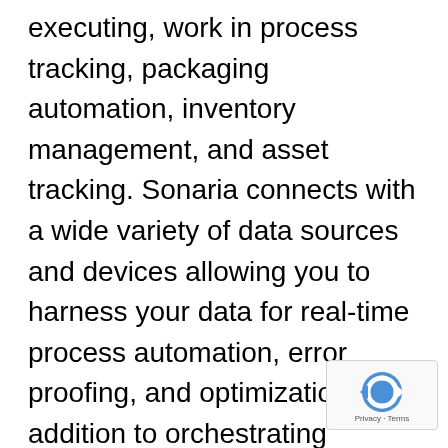executing, work in process tracking, packaging automation, inventory management, and asset tracking. Sonaria connects with a wide variety of data sources and devices allowing you to harness your data for real-time process automation, error proofing, and optimization. In addition to orchestrating improved operations, Sonaria provides analytics and dashboards allowing managers to gain insights for further improvement. Only Sonaria brings together the unique advantages of IoT, blockchain, the cloud, and managed services to provide these next generation capabilities in a comprehensive packaged solution as a service.
[Figure (other): Google reCAPTCHA badge with blue circular arrow logo and 'Privacy - Terms' text]